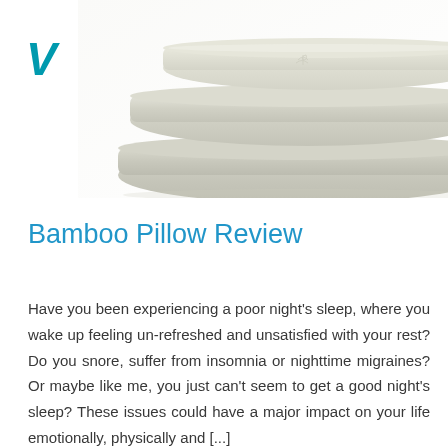[Figure (photo): Stacked bamboo pillows with embroidered floral detail on white/cream bedding, photographed from the side against a white background]
V
Bamboo Pillow Review
Have you been experiencing a poor night's sleep, where you wake up feeling un-refreshed and unsatisfied with your rest? Do you snore, suffer from insomnia or nighttime migraines? Or maybe like me, you just can't seem to get a good night's sleep? These issues could have a major impact on your life emotionally, physically and [...]